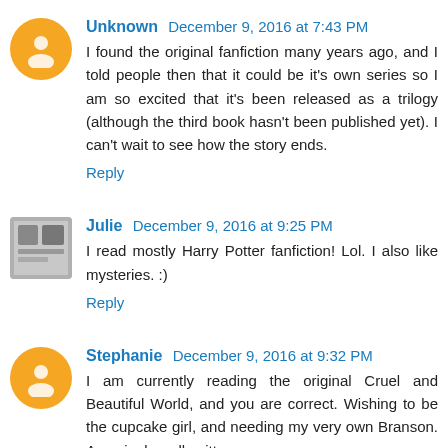Unknown December 9, 2016 at 7:43 PM
I found the original fanfiction many years ago, and I told people then that it could be it's own series so I am so excited that it's been released as a trilogy (although the third book hasn't been published yet). I can't wait to see how the story ends.
Reply
Julie December 9, 2016 at 9:25 PM
I read mostly Harry Potter fanfiction! Lol. I also like mysteries. :)
Reply
Stephanie December 9, 2016 at 9:32 PM
I am currently reading the original Cruel and Beautiful World, and you are correct. Wishing to be the cupcake girl, and needing my very own Branson. Amazingly well written...